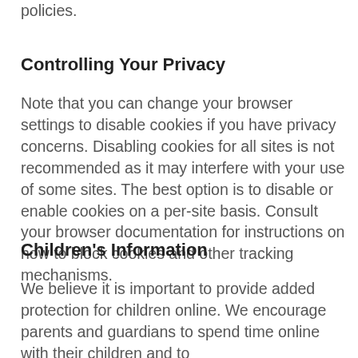policies.
Controlling Your Privacy
Note that you can change your browser settings to disable cookies if you have privacy concerns. Disabling cookies for all sites is not recommended as it may interfere with your use of some sites. The best option is to disable or enable cookies on a per-site basis. Consult your browser documentation for instructions on how to block cookies and other tracking mechanisms.
Children's Information
We believe it is important to provide added protection for children online. We encourage parents and guardians to spend time online with their children and to